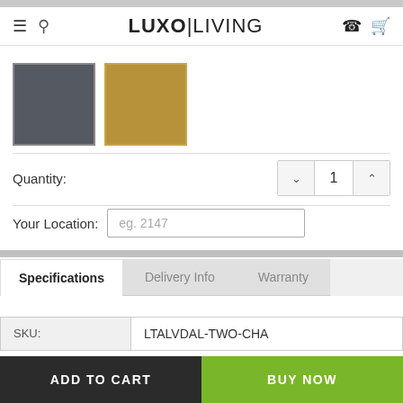LUXO|LIVING navigation bar
[Figure (illustration): Two color swatches: dark charcoal/grey square and golden/tan square]
Quantity: 1
Your Location: eg. 2147
Specifications | Delivery Info | Warranty
| SKU: |  |
| --- | --- |
| SKU: | LTALVDAL-TWO-CHA |
ADD TO CART | BUY NOW